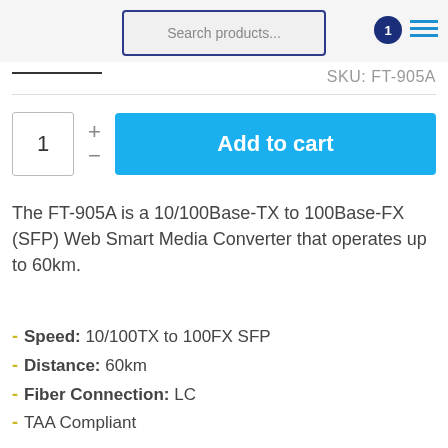Search products...
SKU: FT-905A
1  +  -  Add to cart
The FT-905A is a 10/100Base-TX to 100Base-FX (SFP) Web Smart Media Converter that operates up to 60km.
Speed: 10/100TX to 100FX SFP
Distance: 60km
Fiber Connection: LC
TAA Compliant